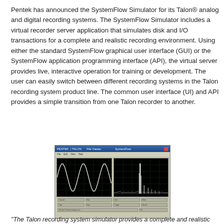Pentek has announced the SystemFlow Simulator for its Talon® analog and digital recording systems. The SystemFlow Simulator includes a virtual recorder server application that simulates disk and I/O transactions for a complete and realistic recording environment. Using either the standard SystemFlow graphical user interface (GUI) or the SystemFlow application programming interface (API), the virtual server provides live, interactive operation for training or development. The user can easily switch between different recording systems in the Talon recording system product line. The common user interface (UI) and API provides a simple transition from one Talon recorder to another.
[Figure (screenshot): Screenshot of the Pentek Talon SystemFlow Simulator application showing two display panels: a time-domain waveform (sinusoidal signal) on the left panel and a frequency-domain spectrum display on the right panel, with control panels below.]
"The Talon recording system simulator provides a complete and realistic recording environment for...